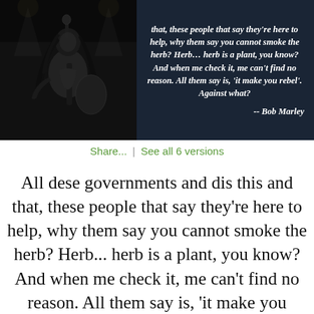[Figure (photo): Dark banner with black-and-white photo of Bob Marley performing with guitar on left side, and italic bold white quote text on right side with attribution '-- Bob Marley']
Share...  |  See all 6 versions
All dese governments and dis this and that, these people that say they're here to help, why them say you cannot smoke the herb? Herb... herb is a plant, you know? And when me check it, me can't find no reason. All them say is, 'it make you rebel'. Against